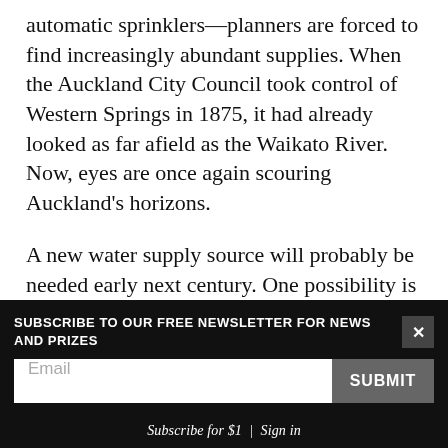automatic sprinklers—planners are forced to find increasingly abundant supplies. When the Auckland City Council took control of Western Springs in 1875, it had already looked as far afield as the Waikato River. Now, eyes are once again scouring Auckland's horizons.
A new water supply source will probably be needed early next century. One possibility is a $100 million dam near Kaukapakapa to the north. Another is the Waikato River which, at Tuakau, has sufficient flow to
SUBSCRIBE TO OUR FREE NEWSLETTER FOR NEWS AND PRIZES
3 FREE ARTICLES LEFT
Subscribe for $1 | Sign in